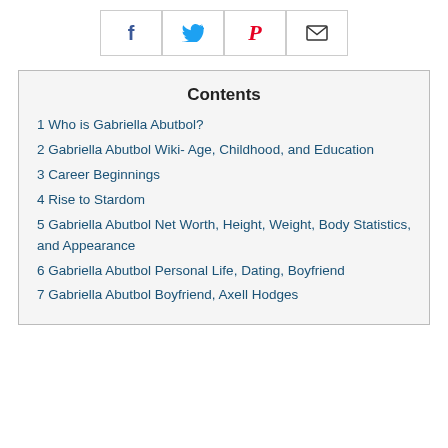[Figure (other): Social share buttons row: Facebook (f), Twitter bird, Pinterest (P), Email envelope icons in bordered boxes]
Contents
1 Who is Gabriella Abutbol?
2 Gabriella Abutbol Wiki- Age, Childhood, and Education
3 Career Beginnings
4 Rise to Stardom
5 Gabriella Abutbol Net Worth, Height, Weight, Body Statistics, and Appearance
6 Gabriella Abutbol Personal Life, Dating, Boyfriend
7 Gabriella Abutbol Boyfriend, Axell Hodges